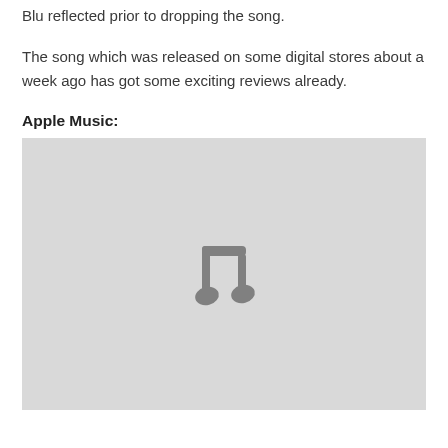Blu reflected prior to dropping the song.
The song which was released on some digital stores about a week ago has got some exciting reviews already.
Apple Music:
[Figure (illustration): Grey placeholder box with a music note icon in the center, representing an Apple Music embedded player that has not loaded.]